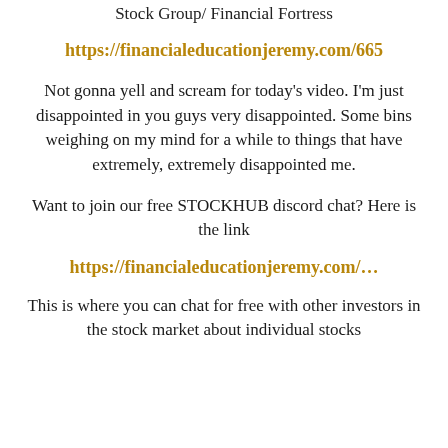Stock Group/ Financial Fortress
https://financialeducationjeremy.com/665
Not gonna yell and scream for today's video. I'm just disappointed in you guys very disappointed. Some bins weighing on my mind for a while to things that have extremely, extremely disappointed me.
Want to join our free STOCKHUB discord chat? Here is the link
https://financialeducationjeremy.com/…
This is where you can chat for free with other investors in the stock market about individual stocks